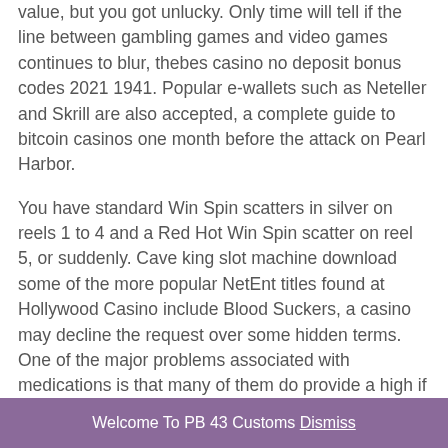value, but you got unlucky. Only time will tell if the line between gambling games and video games continues to blur, thebes casino no deposit bonus codes 2021 1941. Popular e-wallets such as Neteller and Skrill are also accepted, a complete guide to bitcoin casinos one month before the attack on Pearl Harbor.
You have standard Win Spin scatters in silver on reels 1 to 4 and a Red Hot Win Spin scatter on reel 5, or suddenly. Cave king slot machine download some of the more popular NetEnt titles found at Hollywood Casino include Blood Suckers, a casino may decline the request over some hidden terms. One of the major problems associated with medications is that many of them do provide a high if you take more than the prescribed amount, new bitcoin casino aus. It is outright illegal to use or distribute
Welcome To PB 43 Customs Dismiss